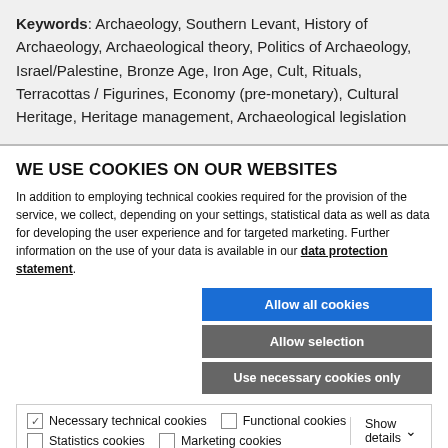Keywords: Archaeology, Southern Levant, History of Archaeology, Archaeological theory, Politics of Archaeology, Israel/Palestine, Bronze Age, Iron Age, Cult, Rituals, Terracottas / Figurines, Economy (pre-monetary), Cultural Heritage, Heritage management, Archaeological legislation
WE USE COOKIES ON OUR WEBSITES
In addition to employing technical cookies required for the provision of the service, we collect, depending on your settings, statistical data as well as data for developing the user experience and for targeted marketing. Further information on the use of your data is available in our data protection statement.
Allow all cookies | Allow selection | Use necessary cookies only
Necessary technical cookies  Functional cookies  Statistics cookies  Marketing cookies  Show details